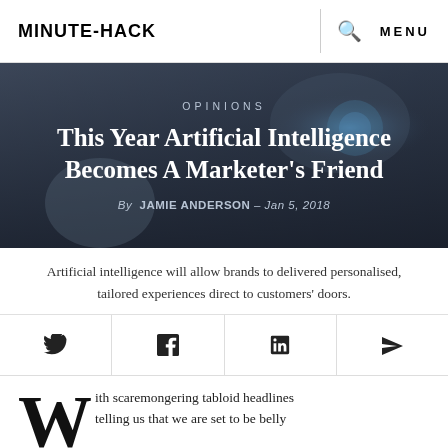MINUTE-HACK
[Figure (photo): Robot hand / AI humanoid robot with glowing blue eye — hero image background for article about AI and marketing]
OPINIONS
This Year Artificial Intelligence Becomes A Marketer’s Friend
By JAMIE ANDERSON – Jan 5, 2018
Artificial intelligence will allow brands to delivered personalised, tailored experiences direct to customers’ doors.
[Figure (infographic): Social share icons: Twitter, Facebook, LinkedIn, Send/Telegram]
With scaremongering tabloid headlines telling us that we are set to be belly